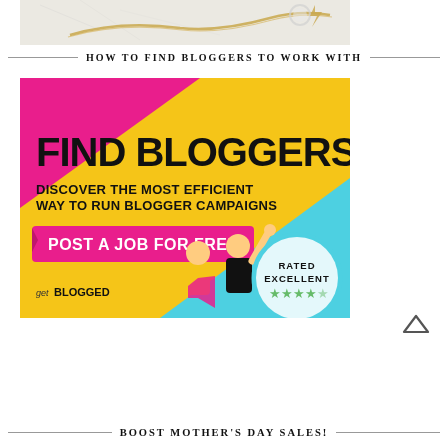[Figure (photo): Top portion of jewelry/accessories photo showing gold chain and ring on marble surface]
HOW TO FIND BLOGGERS TO WORK WITH
[Figure (illustration): getBLOGGED advertisement banner. Yellow and pink/magenta background with bold text: FIND BLOGGERS. Subtext: DISCOVER THE MOST EFFICIENT WAY TO RUN BLOGGER CAMPAIGNS. Pink button: POST A JOB FOR FREE. Bottom left: getBLOGGED logo. Bottom right: circle badge saying RATED EXCELLENT with green star rating. Illustrated characters of two people.]
BOOST MOTHER'S DAY SALES!